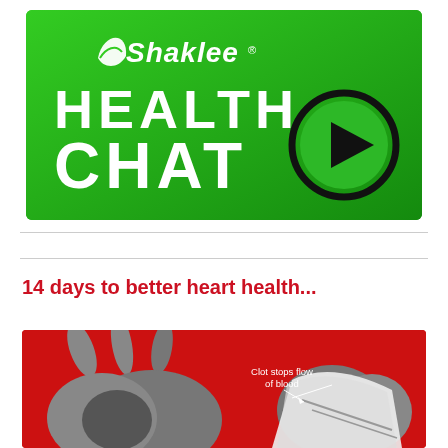[Figure (logo): Shaklee Health Chat banner with green background, Shaklee logo with leaf icon, large text HEALTH CHAT, and a play button circle icon]
14 days to better heart health...
[Figure (illustration): Medical illustration of a heart on red background with label 'Clot stops flow of blood' with an arrow pointing to a blockage]